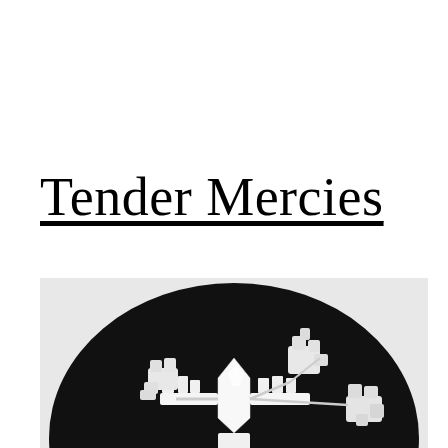Tender Mercies
[Figure (photo): Black and white macro photograph of a snowflake crystal against a dark circular background, showing intricate ice crystal branching structure]